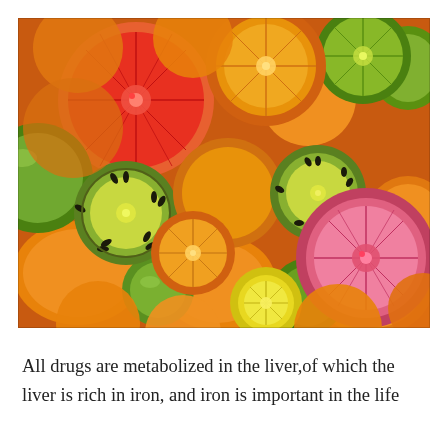[Figure (photo): A colorful overhead photo of various citrus and tropical fruits including oranges, grapefruits (cut in half showing red/pink flesh), limes, kiwis (cut and whole), and lemons, densely arranged filling the frame.]
All drugs are metabolized in the liver,of which the liver is rich in iron, and iron is important in the life